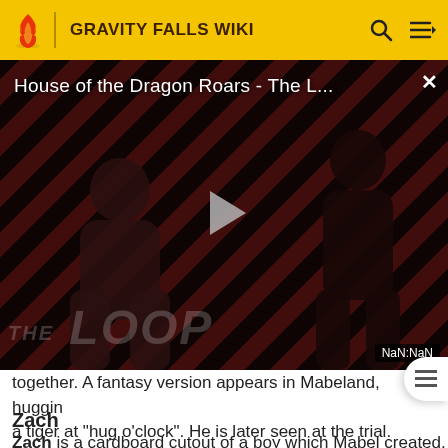GRAVITY FALLS WIKI
[Figure (screenshot): Video player showing 'House of the Dragon Roars - The L...' with a play button, diagonal red/black stripe background, THE LOOP watermark, two dark silhouetted figures, close button X, and NaN:NaN timestamp badge.]
together. A fantasy version appears in Mabeland, hugging a tiger at "hug o'clock". He is later seen at the trial.
Zach
Zach is a cardboard cutout of a boy which Mabel created.